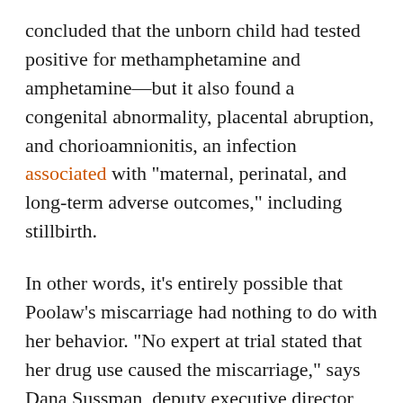concluded that the unborn child had tested positive for methamphetamine and amphetamine—but it also found a congenital abnormality, placental abruption, and chorioamnionitis, an infection associated with "maternal, perinatal, and long-term adverse outcomes," including stillbirth.
In other words, it's entirely possible that Poolaw's miscarriage had nothing to do with her behavior. "No expert at trial stated that her drug use caused the miscarriage," says Dana Sussman, deputy executive director for the National Advocates for Pregnant Women. "It's a confounding case on many levels."
[partial text cut off at bottom of page]